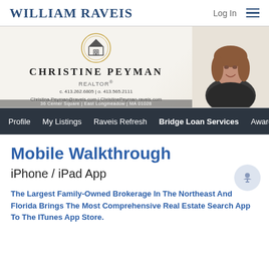WILLIAM RAVEIS | Log In
[Figure (photo): Christine Peyman realtor banner with logo, name, contact info, and agent photo]
Profile | My Listings | Raveis Refresh | Bridge Loan Services | Award
Mobile Walkthrough
iPhone / iPad App
The Largest Family-Owned Brokerage In The Northeast And Florida Brings The Most Comprehensive Real Estate Search App To The ITunes App Store.